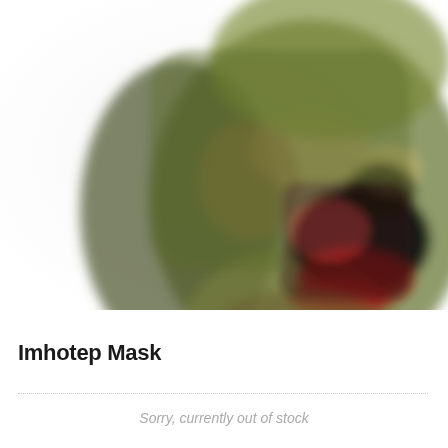[Figure (photo): A blurry/defocused photo of the Imhotep Mask product — a horror/mummy-style latex mask with green, brown, red, and black coloring, shown from a three-quarter angle against a white background.]
Imhotep Mask
Sorry, currently out of stock